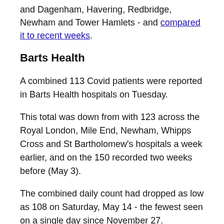and Dagenham, Havering, Redbridge, Newham and Tower Hamlets - and compared it to recent weeks.
Barts Health
A combined 113 Covid patients were reported in Barts Health hospitals on Tuesday.
This total was down from with 123 across the Royal London, Mile End, Newham, Whipps Cross and St Bartholomew's hospitals a week earlier, and on the 150 recorded two weeks before (May 3).
The combined daily count had dropped as low as 108 on Saturday, May 14 - the fewest seen on a single day since November 27.
On average, 112 beds were occupied by Covid patients each day across the trust in the week leading up to this